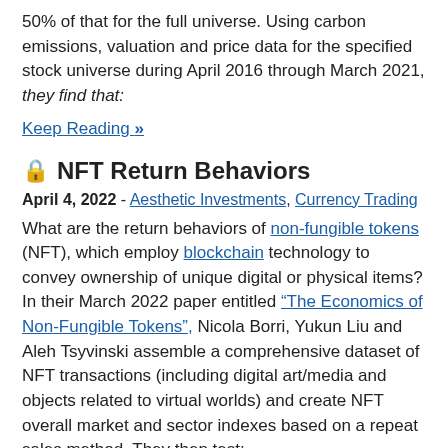50% of that for the full universe. Using carbon emissions, valuation and price data for the specified stock universe during April 2016 through March 2021, they find that:
Keep Reading »
🔒 NFT Return Behaviors
April 4, 2022 - Aesthetic Investments, Currency Trading
What are the return behaviors of non-fungible tokens (NFT), which employ blockchain technology to convey ownership of unique digital or physical items? In their March 2022 paper entitled "The Economics of Non-Fungible Tokens", Nicola Borri, Yukun Liu and Aleh Tsyvinski assemble a comprehensive dataset of NFT transactions (including digital art/media and objects related to virtual worlds) and create NFT overall market and sector indexes based on a repeat sales method. They then test: